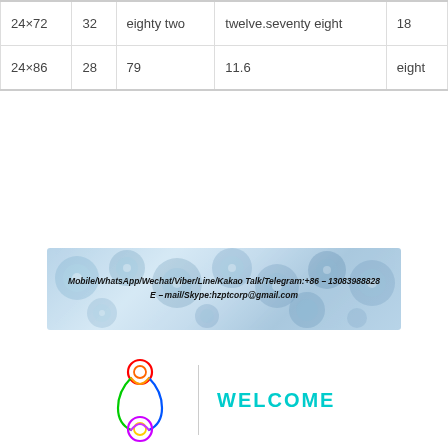| 24×72 | 32 | eighty two | twelve.seventy eight | 18 |
| 24×86 | 28 | 79 | 11.6 | eight |
[Figure (photo): Banner with mechanical gears background and contact information: Mobile/WhatsApp/Wechat/Viber/Line/Kakao Talk/Telegram:+86-13083988828, E-mail/Skype:hzptcorp@gmail.com]
[Figure (logo): Chain link shaped logo in rainbow colors next to a vertical divider line and WELCOME text in cyan]